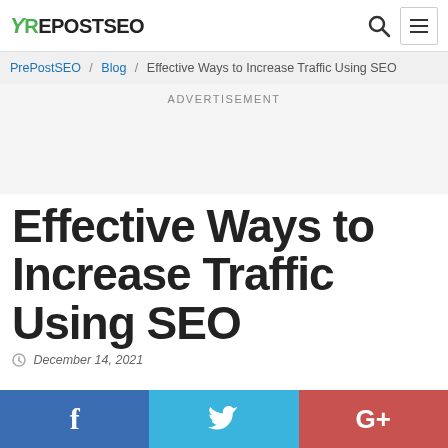PREPOSTSEO
PrePostSEO / Blog / Effective Ways to Increase Traffic Using SEO
ADVERTISEMENT
Effective Ways to Increase Traffic Using SEO
December 14, 2021
[Figure (other): Social share buttons: Facebook (f), Twitter (bird icon), Google+ (G+)]